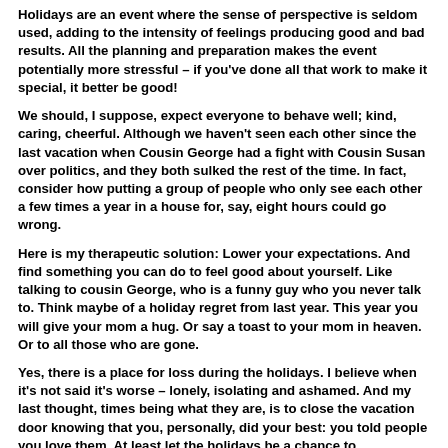Holidays are an event where the sense of perspective is seldom used, adding to the intensity of feelings producing good and bad results. All the planning and preparation makes the event potentially more stressful – if you've done all that work to make it special, it better be good!
We should, I suppose, expect everyone to behave well; kind, caring, cheerful. Although we haven't seen each other since the last vacation when Cousin George had a fight with Cousin Susan over politics, and they both sulked the rest of the time. In fact, consider how putting a group of people who only see each other a few times a year in a house for, say, eight hours could go wrong.
Here is my therapeutic solution: Lower your expectations. And find something you can do to feel good about yourself. Like talking to cousin George, who is a funny guy who you never talk to. Think maybe of a holiday regret from last year. This year you will give your mom a hug. Or say a toast to your mom in heaven. Or to all those who are gone.
Yes, there is a place for loss during the holidays. I believe when it's not said it's worse – lonely, isolating and ashamed. And my last thought, times being what they are, is to close the vacation door knowing that you, personally, did your best: you told people you love them. At least let the holidays be a chance to